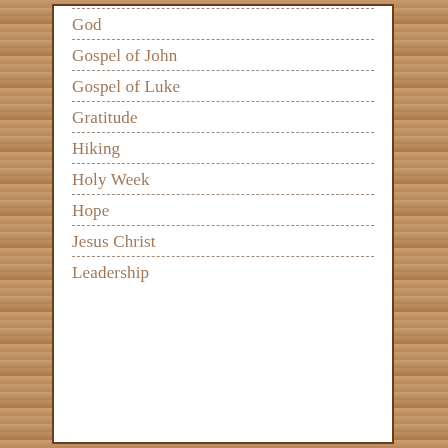God
Gospel of John
Gospel of Luke
Gratitude
Hiking
Holy Week
Hope
Jesus Christ
Leadership